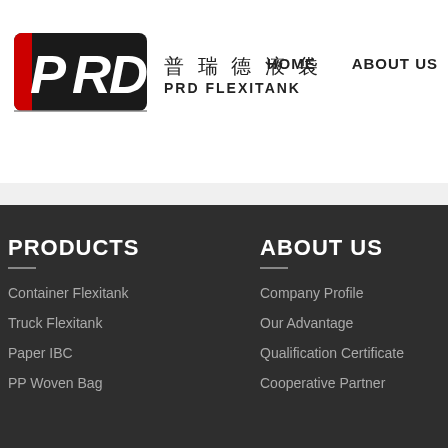[Figure (logo): PRD Flexitank logo with red and black stylized PRD letters, Chinese text 普瑞德液袋, and PRD FLEXITANK text]
HOME   ABOUT US
PRODUCTS
Container Flexitank
Truck Flexitank
Paper IBC
PP Woven Bag
ABOUT US
Company Profile
Our Advantage
Qualification Certificate
Cooperative Partner